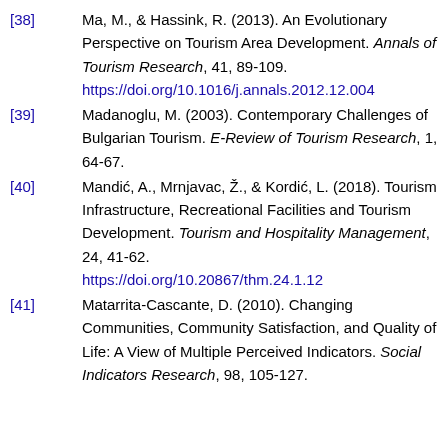[38] Ma, M., & Hassink, R. (2013). An Evolutionary Perspective on Tourism Area Development. Annals of Tourism Research, 41, 89-109. https://doi.org/10.1016/j.annals.2012.12.004
[39] Madanoglu, M. (2003). Contemporary Challenges of Bulgarian Tourism. E-Review of Tourism Research, 1, 64-67.
[40] Mandić, A., Mrnjavac, Ž., & Kordić, L. (2018). Tourism Infrastructure, Recreational Facilities and Tourism Development. Tourism and Hospitality Management, 24, 41-62. https://doi.org/10.20867/thm.24.1.12
[41] Matarrita-Cascante, D. (2010). Changing Communities, Community Satisfaction, and Quality of Life: A View of Multiple Perceived Indicators. Social Indicators Research, 98, 105-127.